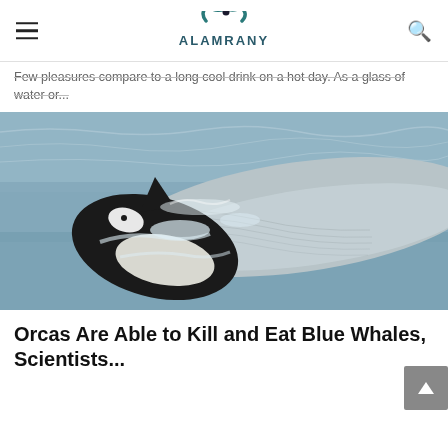ALAMRANY
Few pleasures compare to a long cool drink on a hot day. As a glass of water or...
[Figure (photo): An orca attacking a blue whale in the ocean, with choppy water and sea foam visible around both animals.]
Orcas Are Able to Kill and Eat Blue Whales, Scientists...